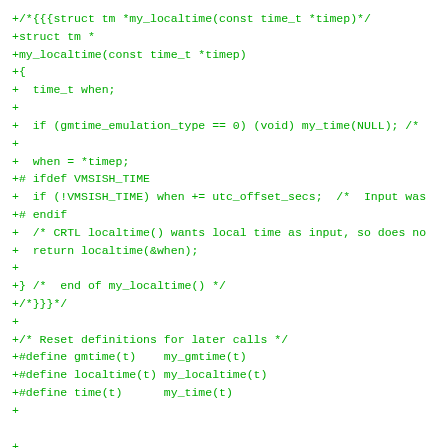+/*{{{struct tm *my_localtime(const time_t *timep)*/
+struct tm *
+my_localtime(const time_t *timep)
+{
+  time_t when;
+
+  if (gmtime_emulation_type == 0) (void) my_time(NULL); /*
+
+  when = *timep;
+# ifdef VMSISH_TIME
+  if (!VMSISH_TIME) when += utc_offset_secs;  /*  Input was
+# endif
+  /* CRTL localtime() wants local time as input, so does no
+  return localtime(&when);
+
+} /*  end of my_localtime() */
+/*}}}*/
+
+/* Reset definitions for later calls */
+#define gmtime(t)    my_gmtime(t)
+#define localtime(t) my_localtime(t)
+#define time(t)      my_time(t)
+
+
+/* my_utime - update modification time of a file
+ * calling sequence is identical to POSIX utime(), but unde
+ * VMS only the modification time is changed; ODS-2 does no
+ * maintain access times.  Restrictions differ from the POS
+ * definition in that the time can be changed as long as th
+ * caller has permission to execute the necessary IO$_MODIF